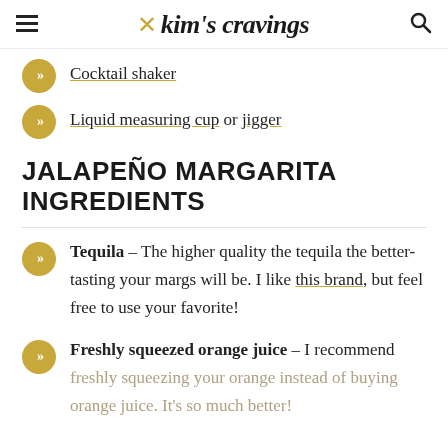Kim's Cravings
Cocktail shaker
Liquid measuring cup or jigger
JALAPEÑO MARGARITA INGREDIENTS
Tequila – The higher quality the tequila the better-tasting your margs will be. I like this brand, but feel free to use your favorite!
Freshly squeezed orange juice – I recommend freshly squeezing your orange instead of buying orange juice. It's so much better!